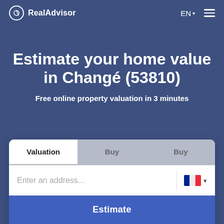RealAdvisor  EN  ☰
Estimate your home value in Changé (53810)
Free online property valuation in 3 minutes
Valuation | Buy | Buy
Enter an address...
Estimate